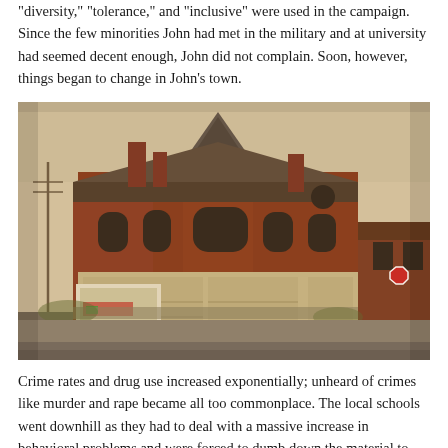“diversity,” “tolerance,” and “inclusive” were used in the campaign. Since the few minorities John had met in the military and at university had seemed decent enough, John did not complain. Soon, however, things began to change in John’s town.
[Figure (photo): Photograph of an abandoned or deteriorated Victorian-era red brick building on a street corner, with boarded-up windows and a conical tower, surrounded by overgrown vegetation and fencing, with other run-down brick buildings visible in the background.]
Crime rates and drug use increased exponentially; unheard of crimes like murder and rape became all too commonplace. The local schools went downhill as they had to deal with a massive increase in behavioral problems and were forced to dumb down the material to allow the